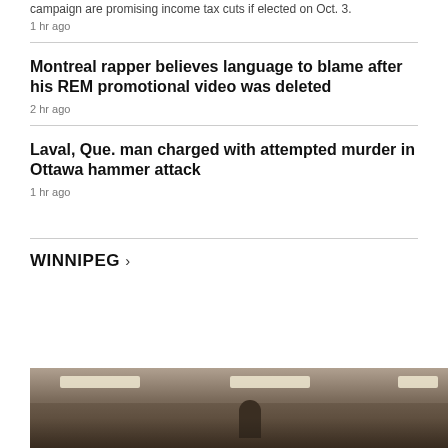campaign are promising income tax cuts if elected on Oct. 3.
1 hr ago
Montreal rapper believes language to blame after his REM promotional video was deleted
2 hr ago
Laval, Que. man charged with attempted murder in Ottawa hammer attack
1 hr ago
WINNIPEG ›
[Figure (photo): Interior photo of a store or retail space with fluorescent ceiling lights and a person visible in the background]